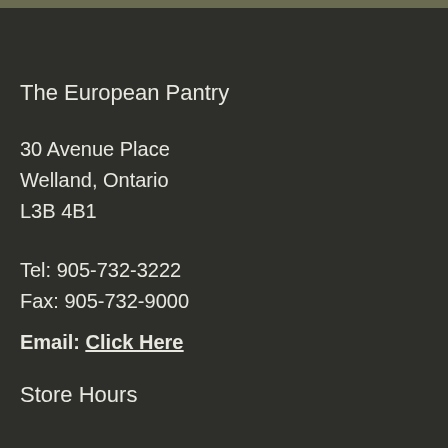The European Pantry
30 Avenue Place
Welland, Ontario
L3B 4B1
Tel: 905-732-3222
Fax: 905-732-9000
Email: Click Here
Store Hours